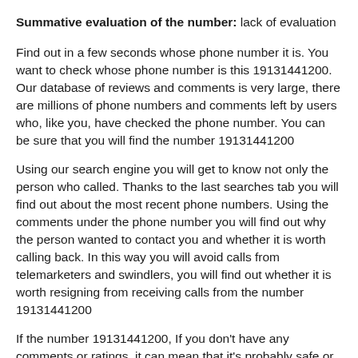Summative evaluation of the number: lack of evaluation
Find out in a few seconds whose phone number it is. You want to check whose phone number is this 19131441200. Our database of reviews and comments is very large, there are millions of phone numbers and comments left by users who, like you, have checked the phone number. You can be sure that you will find the number 19131441200
Using our search engine you will get to know not only the person who called. Thanks to the last searches tab you will find out about the most recent phone numbers. Using the comments under the phone number you will find out why the person wanted to contact you and whether it is worth calling back. In this way you will avoid calls from telemarketers and swindlers, you will find out whether it is worth resigning from receiving calls from the number 19131441200
If the number 19131441200, If you don't have any comments or ratings, it can mean that it's probably safe or no user has added it as a harassing call yet. Of course, there is no 100% certainty that it is not a telemarker or a sales representative. If it turns out that